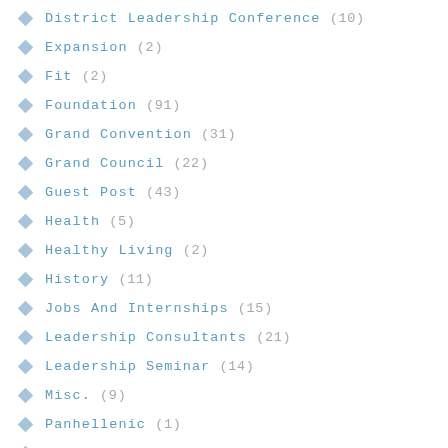District Leadership Conference (10)
Expansion (2)
Fit (2)
Foundation (91)
Grand Convention (31)
Grand Council (22)
Guest Post (43)
Health (5)
Healthy Living (2)
History (11)
Jobs And Internships (15)
Leadership Consultants (21)
Leadership Seminar (14)
Misc. (9)
Panhellenic (1)
Philanthropy (25)
Recruitment (4)